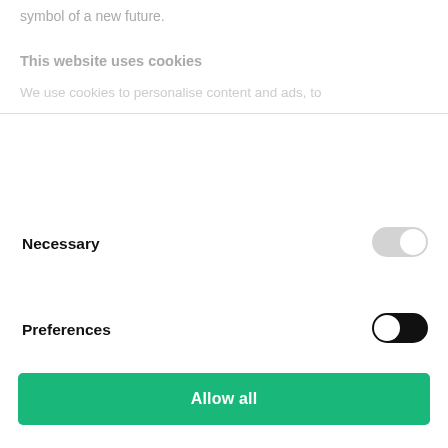symbol of a new future.
This website uses cookies
We use cookies to personalise content and ads, to
Necessary
[Figure (other): Toggle switch in OFF state (gray background, circle on right side)]
Preferences
[Figure (other): Toggle switch in ON state (black background, circle on left side)]
Allow all
Allow selection
Deny
Powered by Cookiebot by Usercentrics
some of their visitors this is the positive change to take a stand on...